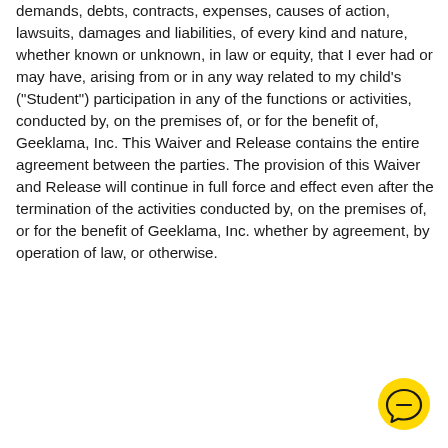demands, debts, contracts, expenses, causes of action, lawsuits, damages and liabilities, of every kind and nature, whether known or unknown, in law or equity, that I ever had or may have, arising from or in any way related to my child's ("Student") participation in any of the functions or activities, conducted by, on the premises of, or for the benefit of, Geeklama, Inc. This Waiver and Release contains the entire agreement between the parties. The provision of this Waiver and Release will continue in full force and effect even after the termination of the activities conducted by, on the premises of, or for the benefit of Geeklama, Inc. whether by agreement, by operation of law, or otherwise.
[Figure (other): Yellow circular chat/message icon in the bottom-right corner]